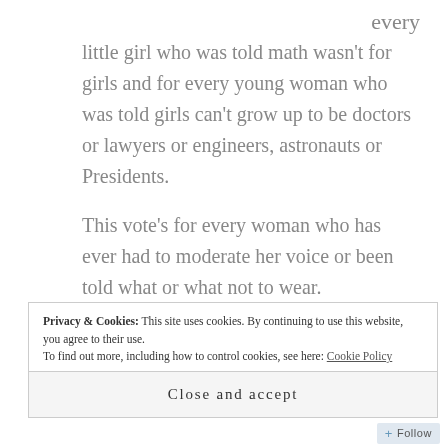every little girl who was told math wasn't for girls and for every young woman who was told girls can't grow up to be doctors or lawyers or engineers, astronauts or Presidents.
This vote's for every woman who has ever had to moderate her voice or been told what or what not to wear.
This vote is for every little girl who was told she couldn't be Bat Man for Halloween and for every little boy who was told he couldn't be Wonder Woman.
Privacy & Cookies: This site uses cookies. By continuing to use this website, you agree to their use.
To find out more, including how to control cookies, see here: Cookie Policy
Close and accept
Follow